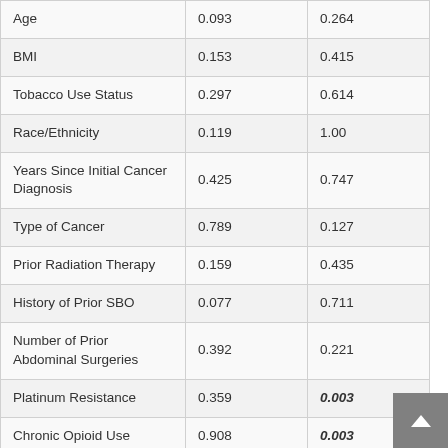|  | Col1 | Col2 |
| --- | --- | --- |
| Age | 0.093 | 0.264 |
| BMI | 0.153 | 0.415 |
| Tobacco Use Status | 0.297 | 0.614 |
| Race/Ethnicity | 0.119 | 1.00 |
| Years Since Initial Cancer Diagnosis | 0.425 | 0.747 |
| Type of Cancer | 0.789 | 0.127 |
| Prior Radiation Therapy | 0.159 | 0.435 |
| History of Prior SBO | 0.077 | 0.711 |
| Number of Prior Abdominal Surgeries | 0.392 | 0.221 |
| Platinum Resistance | 0.359 | 0.003 |
| Chronic Opioid Use | 0.908 | 0.003 |